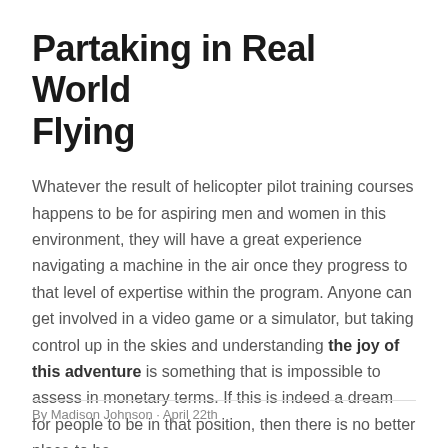Partaking in Real World Flying
Whatever the result of helicopter pilot training courses happens to be for aspiring men and women in this environment, they will have a great experience navigating a machine in the air once they progress to that level of expertise within the program. Anyone can get involved in a video game or a simulator, but taking control up in the skies and understanding the joy of this adventure is something that is impossible to assess in monetary terms. If this is indeed a dream for people to be in that position, then there is no better place to be.
By Madison Johnson · April 22th